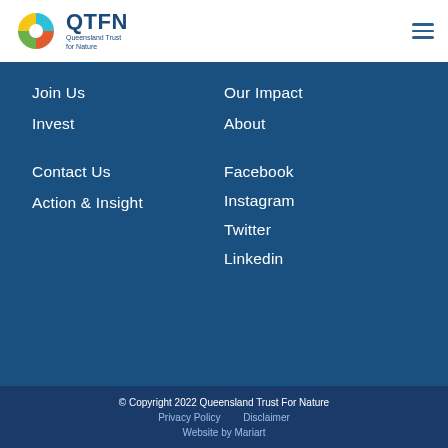[Figure (logo): QTFN Queensland Trust for Nature logo with colourful circular icon and dark blue text]
Join Us
Invest
Our Impact
About
Contact Us
Action & Insight
Facebook
Instagram
Twitter
Linkedin
© Copyright 2022 Queensland Trust For Nature
Privacy Policy    Disclaimer
Website by Mariart